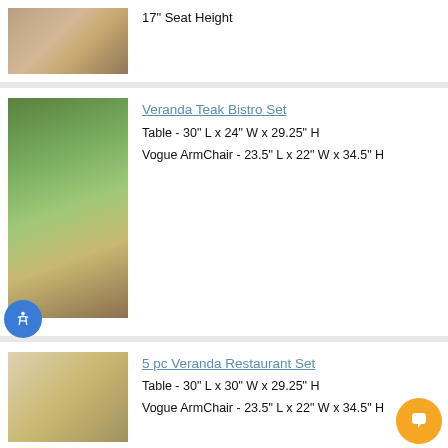17" Seat Height
[Figure (photo): Teak outdoor furniture photo (partial, top of page)]
[Figure (photo): Veranda Teak Bistro Set - outdoor bistro table and chairs in garden setting]
Veranda Teak Bistro Set
Table - 30" L x 24" W x 29.25" H
Vogue ArmChair - 23.5" L x 22" W x 34.5" H
[Figure (photo): 5 pc Veranda Restaurant Set - outdoor dining table and chairs]
5 pc Veranda Restaurant Set
Table - 30" L x 30" W x 29.25" H
Vogue ArmChair - 23.5" L x 22" W x 34.5" H